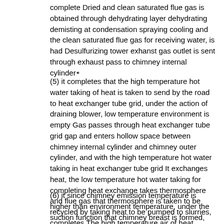complete Dried and clean saturated flue gas is obtained through dehydrating layer dehydrating demisting at condensation spraying cooling and the clean saturated flue gas for receiving water, is had Desulfurizing tower exhanst gas outlet is sent through exhaust pass to chimney internal cylinder.
(5) it completes that the high temperature hot water taking of heat is taken to send by the road to heat exchanger tube grid, under the action of draining blower, low temperature environment is empty Gas passes through heat exchanger tube grid gap and enters hollow space between chimney internal cylinder and chimney outer cylinder, and with the high temperature hot water taking in heat exchanger tube grid It exchanges heat, the low temperature hot water taking for completing heat exchange takes thermosphere and flue gas that thermosphere is taken to be recycled by taking heat to be pumped to slurries, completes The high temperature air of heat exchange is flowed up through draining blower hollow space between chimney internal cylinder and chimney outer cylinder.
(6) it since chimney emission temperature is higher than environment temperature, under the suction function that chimney breast is formed, flows at mixed air port The hot environment air of enough attention boundary layer passes through the boundary layer to a...